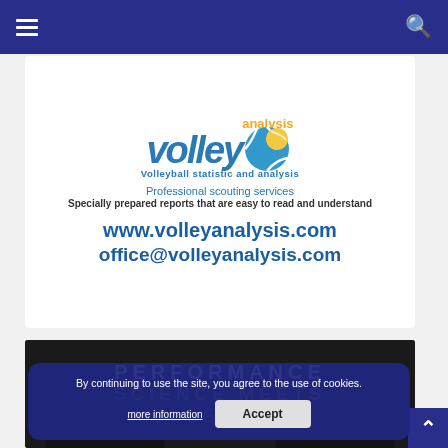Navigation bar with hamburger menu and search icon
[Figure (illustration): Volley Analysis advertisement banner with logo, volleyball graphic, tagline 'Volleyball statistic and analysis', 'Professional scouting services', 'Specially prepared reports that are easy to read and understand', website www.volleyanalysis.com and email office@volleyanalysis.com]
[Figure (photo): Dark background image with large white text 'PERFORMANCE SCIENCE MEETS VOLLEYBALL']
By continuing to use the site, you agree to the use of cookies.
more information
Accept